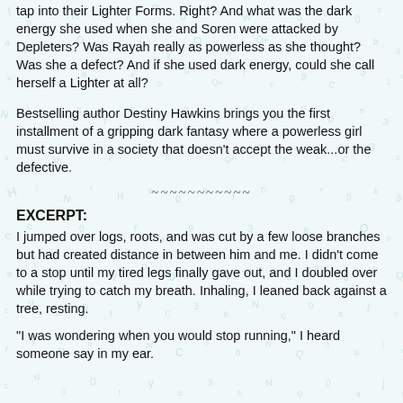tap into their Lighter Forms. Right? And what was the dark energy she used when she and Soren were attacked by Depleters? Was Rayah really as powerless as she thought? Was she a defect? And if she used dark energy, could she call herself a Lighter at all?
Bestselling author Destiny Hawkins brings you the first installment of a gripping dark fantasy where a powerless girl must survive in a society that doesn't accept the weak...or the defective.
~~~~~~~~~~~
EXCERPT:
I jumped over logs, roots, and was cut by a few loose branches but had created distance in between him and me. I didn't come to a stop until my tired legs finally gave out, and I doubled over while trying to catch my breath. Inhaling, I leaned back against a tree, resting.
“I was wondering when you would stop running,” I heard someone say in my ear.